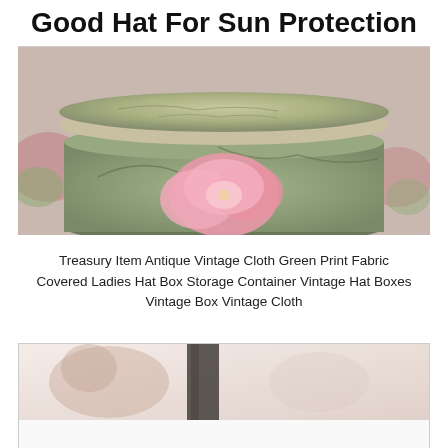Good Hat For Sun Protection
[Figure (photo): Antique vintage cloth green print fabric covered ladies hat box with pink floral decoration, shown from above with lid partially open revealing pink silk flowers inside.]
Treasury Item Antique Vintage Cloth Green Print Fabric Covered Ladies Hat Box Storage Container Vintage Hat Boxes Vintage Box Vintage Cloth
[Figure (photo): Partial view of a second item showing a blurred/soft-focus image with light pinkish background and dark vertical element, partially cropped.]